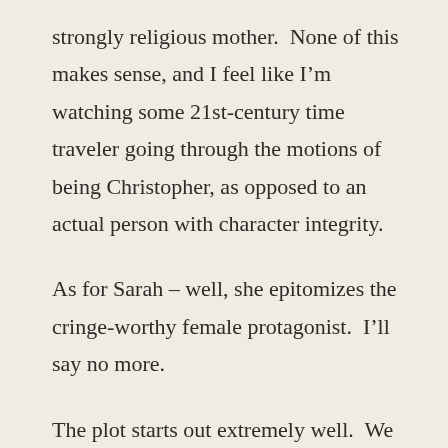strongly religious mother.  None of this makes sense, and I feel like I'm watching some 21st-century time traveler going through the motions of being Christopher, as opposed to an actual person with character integrity.
As for Sarah – well, she epitomizes the cringe-worthy female protagonist.  I'll say no more.
The plot starts out extremely well.  We get flashbacks of Christopher's youth, most importantly of his friendship with Akira – a boy torn between his Japanese culture and his life in International